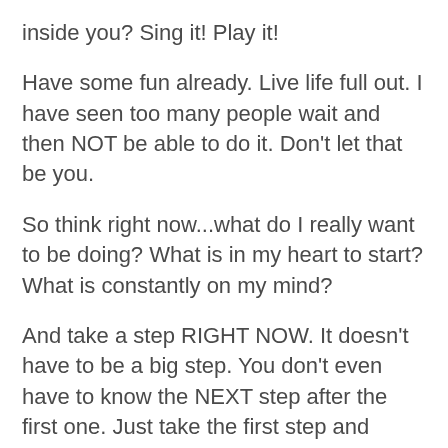inside you? Sing it! Play it!
Have some fun already. Live life full out. I have seen too many people wait and then NOT be able to do it. Don't let that be you.
So think right now...what do I really want to be doing? What is in my heart to start? What is constantly on my mind?
And take a step RIGHT NOW. It doesn't have to be a big step. You don't even have to know the NEXT step after the first one. Just take the first step and THEN figure out the next one.
Your life will FEEL better just from taking a small action towards what it is that you want. Give yourself permission to live. In the video I share a